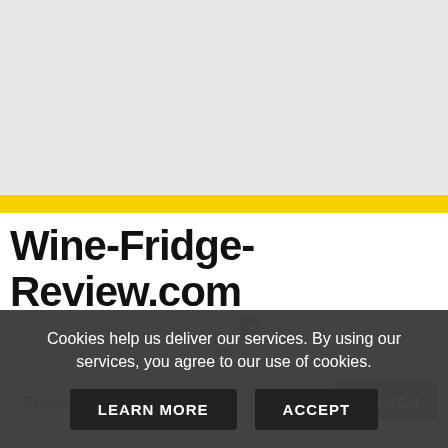[Figure (screenshot): Gray empty top area of a web page]
Wine-Fridge-Review.com
[Figure (other): Shopping cart icon button with badge showing 0]
[Figure (screenshot): Search input field with SEARCH button]
Cookies help us deliver our services. By using our services, you agree to our use of cookies.
LEARN MORE
ACCEPT